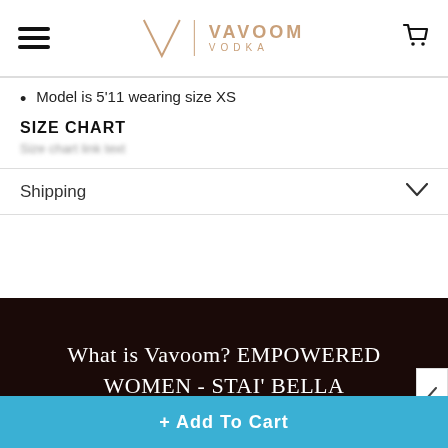VAVOOM VODKA - Navigation header with hamburger menu and shopping cart
Model is 5'11 wearing size XS
SIZE CHART
Shipping
What is Vavoom? EMPOWERED WOMEN - STAI' BELLA
100 Visitor Right Now
+ Add To Cart